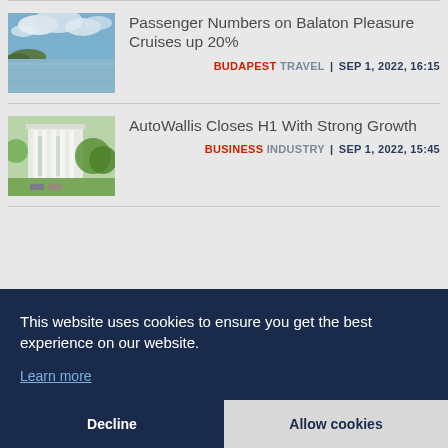[Figure (photo): Landscape photo of Lake Balaton with clouds reflected on calm water and hills in background]
Passenger Numbers on Balaton Pleasure Cruises up 20%
BUDAPEST TRAVEL | SEP 1, 2022, 16:15
[Figure (photo): Photo of modern building exterior with white columns and trees/green lawn]
AutoWallis Closes H1 With Strong Growth
BUSINESS INDUSTRY | SEP 1, 2022, 15:45
This website uses cookies to ensure you get the best experience on our website. Learn more
Decline
Allow cookies